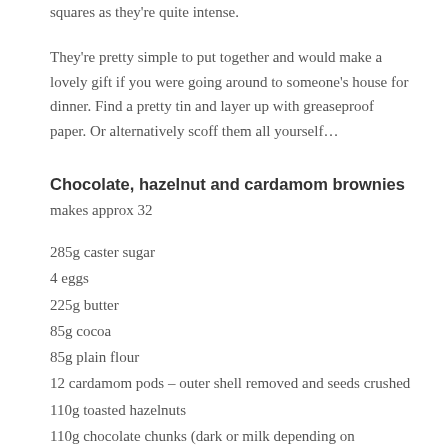squares as they're quite intense.
They're pretty simple to put together and would make a lovely gift if you were going around to someone's house for dinner. Find a pretty tin and layer up with greaseproof paper. Or alternatively scoff them all yourself…
Chocolate, hazelnut and cardamom brownies
makes approx 32
285g caster sugar
4 eggs
225g butter
85g cocoa
85g plain flour
12 cardamom pods – outer shell removed and seeds crushed
110g toasted hazelnuts
110g chocolate chunks (dark or milk depending on preference)